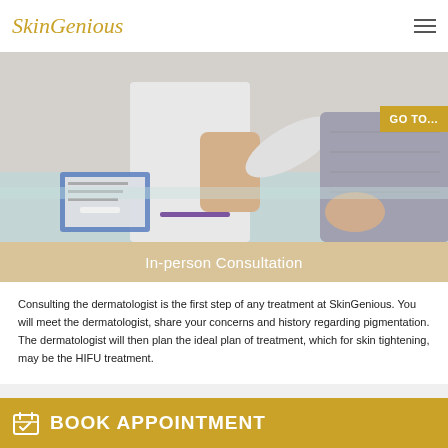SkinGenious
[Figure (photo): A dermatologist in a white coat consulting with a patient, holding a medical device, with a clipboard on the table. A 'GO TO...' gold badge overlaid on the right side.]
In-person Consultation
Consulting the dermatologist is the first step of any treatment at SkinGenious. You will meet the dermatologist, share your concerns and history regarding pigmentation. The dermatologist will then plan the ideal plan of treatment, which for skin tightening, may be the HIFU treatment.
BOOK APPOINTMENT